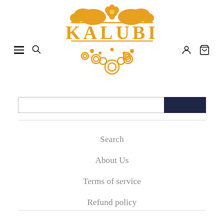[Figure (logo): KALUBI decorative logo in golden/amber color with ornate floral and scroll design above and below the text]
[Figure (schematic): Navigation bar with hamburger menu icon and search icon on the left, user account icon and shopping cart icon on the right]
[Figure (schematic): Search input field with dark navy blue search button on the right]
Search
About Us
Terms of service
Refund policy